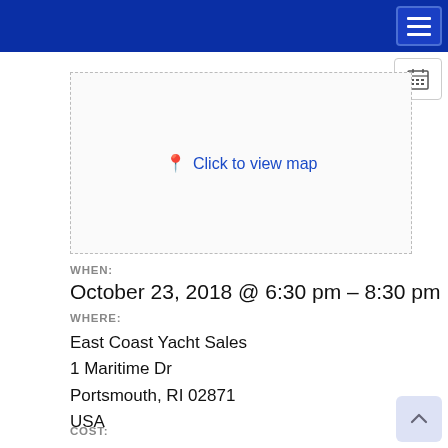Navigation bar with hamburger menu
[Figure (map): Map placeholder area with dashed border and 'Click to view map' link in blue]
WHEN:
October 23, 2018 @ 6:30 pm – 8:30 pm
WHERE:
East Coast Yacht Sales
1 Maritime Dr
Portsmouth, RI 02871
USA
COST: